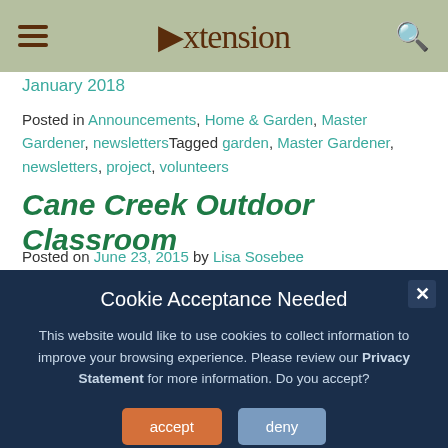Extension
January 2018
Posted in Announcements, Home & Garden, Master Gardener, newsletters Tagged garden, Master Gardener, newsletters, project, volunteers
Cane Creek Outdoor Classroom
Posted on June 23, 2015 by Lisa Sosebee
[Figure (photo): Outdoor photo of trees and greenery]
Cookie Acceptance Needed
This website would like to use cookies to collect information to improve your browsing experience. Please review our Privacy Statement for more information. Do you accept?